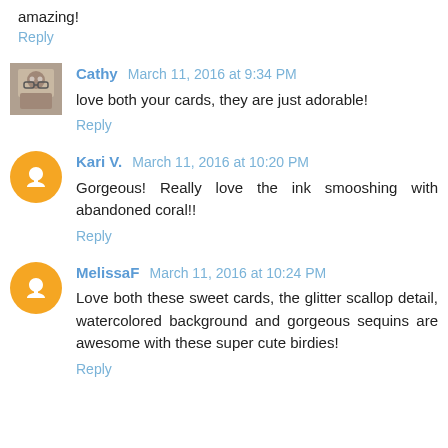amazing!
Reply
Cathy March 11, 2016 at 9:34 PM
love both your cards, they are just adorable!
Reply
Kari V. March 11, 2016 at 10:20 PM
Gorgeous! Really love the ink smooshing with abandoned coral!!
Reply
MelissaF March 11, 2016 at 10:24 PM
Love both these sweet cards, the glitter scallop detail, watercolored background and gorgeous sequins are awesome with these super cute birdies!
Reply